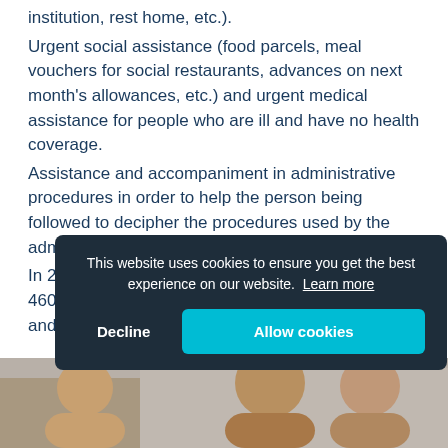institution, rest home, etc.).
Urgent social assistance (food parcels, meal vouchers for social restaurants, advances on next month's allowances, etc.) and urgent medical assistance for people who are ill and have no health coverage.
Assistance and accompaniment in administrative procedures in order to help the person being followed to decipher the procedures used by the administrations and other social services.
In 2019, of the 1,722 orientation projects activated, 460 resulted in orientation towards emergency and/or stre...
[Figure (photo): Partial photo strip at the bottom showing people, partially obscured by cookie consent banner]
This website uses cookies to ensure you get the best experience on our website. Learn more
Decline | Allow cookies